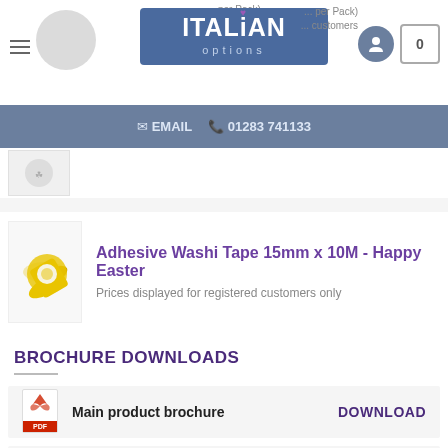ITALiAN options — EMAIL  01283 741133
Purple/W... per Pack)
Prices displayed for registered customers only
Adhesive Washi Tape 15mm x 10M - Happy Easter
Prices displayed for registered customers only
BROCHURE DOWNLOADS
Main product brochure  DOWNLOAD
Patisserie Box brochure  DOWNLOAD